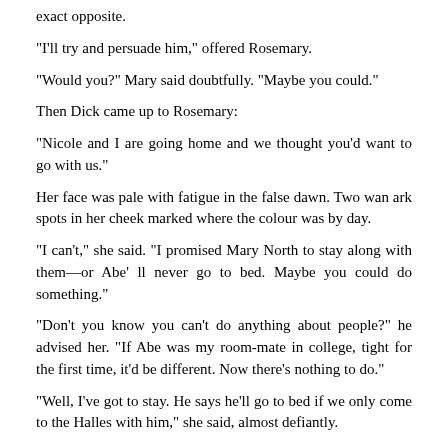exact opposite.
“I’ll try and persuade him,” offered Rosemary.
“Would you?” Mary said doubtfully. “Maybe you could.”
Then Dick came up to Rosemary:
“Nicole and I are going home and we thought you’d want to go with us.”
Her face was pale with fatigue in the false dawn. Two wan ark spots in her cheek marked where the colour was by day.
“I can’t,” she said. “I promised Mary North to stay along with them—or Abe’ ll never go to bed. Maybe you could do something.”
“Don’t you know you can’t do anything about people?” he advised her. “If Abe was my room-mate in college, tight for the first time, it’d be different. Now there’s nothing to do.”
“Well, I’ve got to stay. He says he’ll go to bed if we only come to the Halles with him,” she said, almost defiantly.
He kissed the inside of her elbow quickly.